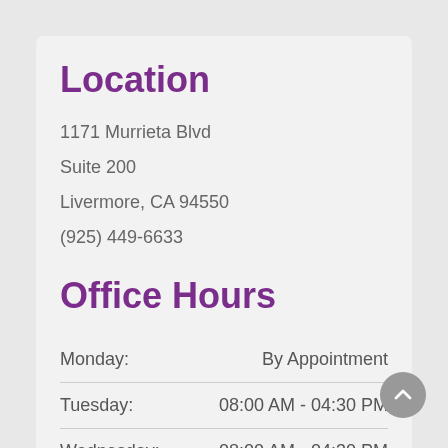Location
1171 Murrieta Blvd
Suite 200
Livermore, CA 94550
(925) 449-6633
Office Hours
| Day | Hours |
| --- | --- |
| Monday: | By Appointment |
| Tuesday: | 08:00 AM - 04:30 PM |
| Wednesday: | 08:00 AM - 04:30 PM |